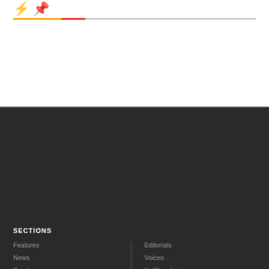[Figure (logo): Lightning bolt icon in orange and map pin icon in red, with a horizontal line below — orange, red, then gray segments]
SECTIONS
Features
News
Sports
Leisure
Opinion
Editorials
Voices
Halftime Leisure
Halftime Sports
Podcasts
ABOUT